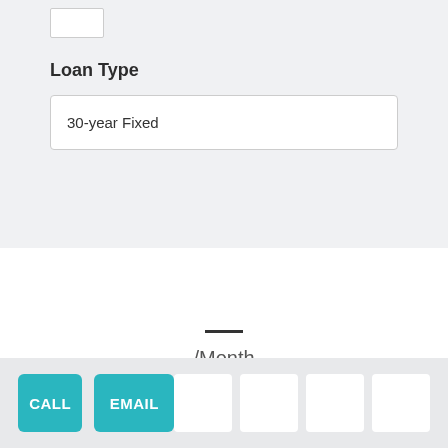[Figure (other): Checkbox/input field partially visible at top]
Loan Type
30-year Fixed
—
/Month
CALL
EMAIL